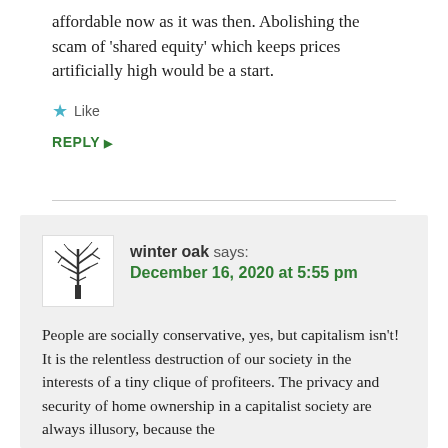affordable now as it was then. Abolishing the scam of 'shared equity' which keeps prices artificially high would be a start.
★ Like
REPLY ▶
winter oak says: December 16, 2020 at 5:55 pm
People are socially conservative, yes, but capitalism isn't! It is the relentless destruction of our society in the interests of a tiny clique of profiteers. The privacy and security of home ownership in a capitalist society are always illusory, because the